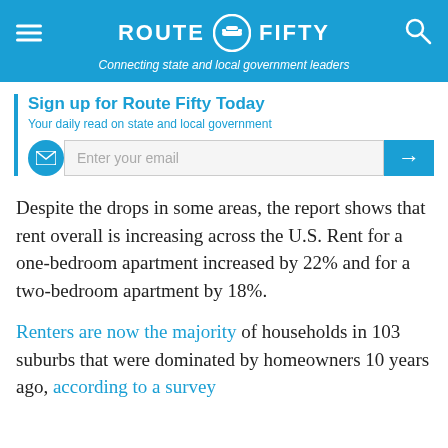ROUTE FIFTY — Connecting state and local government leaders
Sign up for Route Fifty Today
Your daily read on state and local government
Despite the drops in some areas, the report shows that rent overall is increasing across the U.S. Rent for a one-bedroom apartment increased by 22% and for a two-bedroom apartment by 18%.
Renters are now the majority of households in 103 suburbs that were dominated by homeowners 10 years ago, according to a survey